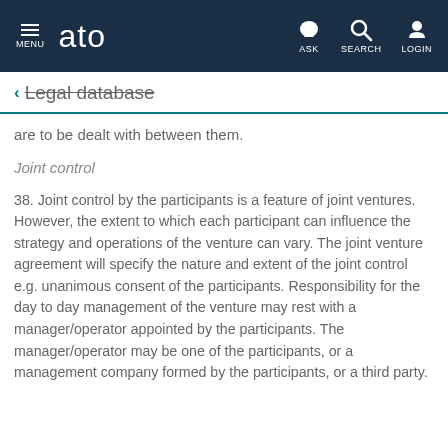MENU | ato | ASK | SEARCH | LOGIN
← Legal database
are to be dealt with between them.
Joint control
38. Joint control by the participants is a feature of joint ventures. However, the extent to which each participant can influence the strategy and operations of the venture can vary. The joint venture agreement will specify the nature and extent of the joint control e.g. unanimous consent of the participants. Responsibility for the day to day management of the venture may rest with a manager/operator appointed by the participants. The manager/operator may be one of the participants, or a management company formed by the participants, or a third party.